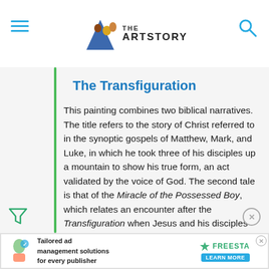[Figure (logo): The Art Story website logo with header image and navigation bar including hamburger menu and search icon]
The Transfiguration
This painting combines two biblical narratives. The title refers to the story of Christ referred to in the synoptic gospels of Matthew, Mark, and Luke, in which he took three of his disciples up a mountain to show his true form, an act validated by the voice of God. The second tale is that of the Miracle of the Possessed Boy, which relates an encounter after the Transfiguration when Jesus and his disciples descended the mountain only to encounter a man who begged Christ to heal his devil-possessed son. The presentation of these two stories is visually accomplished by the
[Figure (screenshot): Advertisement banner: Tailored ad management solutions for every publisher - FREESTA with LEARN MORE button]